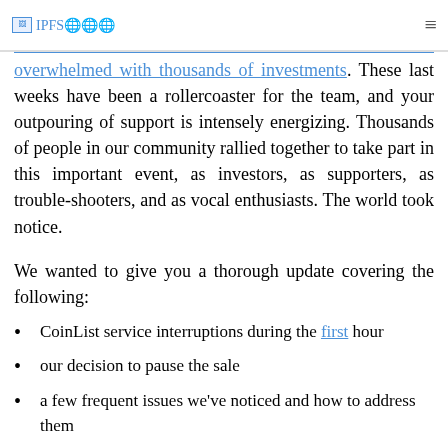IPFS [logo] ≡
overwhelmed with thousands of investments. These last weeks have been a rollercoaster for the team, and your outpouring of support is intensely energizing. Thousands of people in our community rallied together to take part in this important event, as investors, as supporters, as trouble-shooters, and as vocal enthusiasts. The world took notice.
We wanted to give you a thorough update covering the following:
CoinList service interruptions during the first hour
our decision to pause the sale
a few frequent issues we've noticed and how to address them